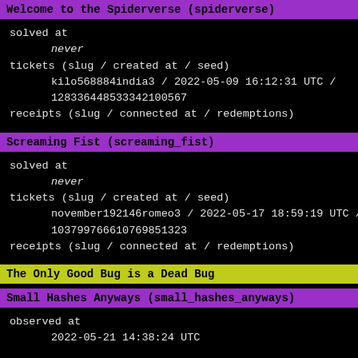Welcome to the Spiderverse (spiderverse)
solved at
    never
tickets (slug / created at / seed)
    kilo568884india3 / 2022-05-09 16:12:31 UTC /
    128336448533342100567
receipts (slug / connected at / redemptions)
Screaming Fist (screaming_fist)
solved at
    never
tickets (slug / created at / seed)
    november192146romeo3 / 2022-05-17 18:59:19 UTC /
    103799766810769851323
receipts (slug / connected at / redemptions)
The Only Good Bug is a Dead Bug
Small Hashes Anyways (small_hashes_anyways)
observed at
    2022-05-21 14:38:24 UTC